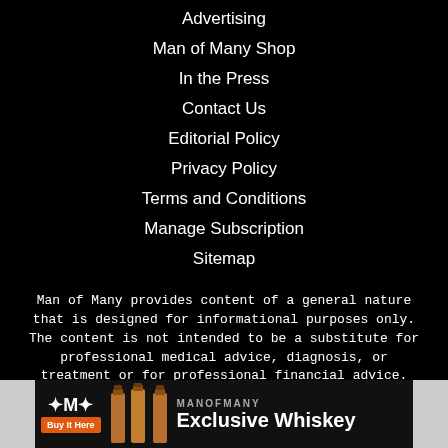Advertising
Man of Many Shop
In the Press
Contact Us
Editorial Policy
Privacy Policy
Terms and Conditions
Manage Subscription
Sitemap
Man of Many provides content of a general nature that is designed for informational purposes only. The content is not intended to be a substitute for professional medical advice, diagnosis, or treatment or for professional financial advice. Click here for additional information.
[Figure (other): Man of Many Exclusive Whiskey advertisement banner with logo, buy it here button, whiskey bottle images, and MANOFMANY Exclusive Whiskey text]